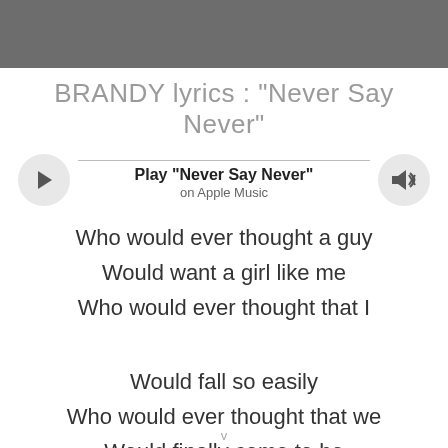BRANDY lyrics : "Never Say Never"
[Figure (other): Apple Music player bar with play button, 'Play "Never Say Never"' text, 'on Apple Music' subtitle, and volume button]
Who would ever thought a guy
Would want a girl like me
Who would ever thought that I
Would fall so easily
Who would ever thought that we
Would finally come to be